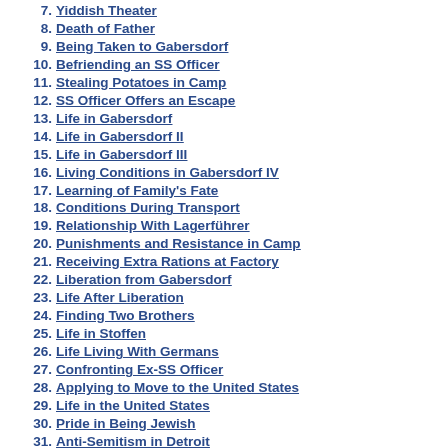7. Yiddish Theater
8. Death of Father
9. Being Taken to Gabersdorf
10. Befriending an SS Officer
11. Stealing Potatoes in Camp
12. SS Officer Offers an Escape
13. Life in Gabersdorf
14. Life in Gabersdorf II
15. Life in Gabersdorf III
16. Living Conditions in Gabersdorf IV
17. Learning of Family's Fate
18. Conditions During Transport
19. Relationship With Lagerführer
20. Punishments and Resistance in Camp
21. Receiving Extra Rations at Factory
22. Liberation from Gabersdorf
23. Life After Liberation
24. Finding Two Brothers
25. Life in Stoffen
26. Life Living With Germans
27. Confronting Ex-SS Officer
28. Applying to Move to the United States
29. Life in the United States
30. Pride in Being Jewish
31. Anti-Semitism in Detroit